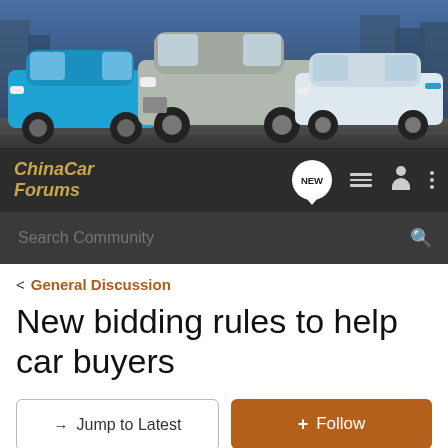[Figure (photo): Hero banner showing three Chinese cars (blue SUV, silver SUV, white sedan) against a city background]
ChinaCar Forums — navigation bar with NEW badge, list icon, person icon, dots icon
Search Community
< General Discussion
New bidding rules to help car buyers
→ Jump to Latest
+ Follow
1 - 1 of 1 Posts